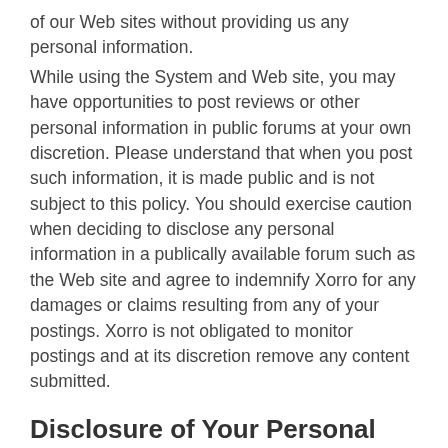of our Web sites without providing us any personal information.
While using the System and Web site, you may have opportunities to post reviews or other personal information in public forums at your own discretion. Please understand that when you post such information, it is made public and is not subject to this policy. You should exercise caution when deciding to disclose any personal information in a publically available forum such as the Web site and agree to indemnify Xorro for any damages or claims resulting from any of your postings. Xorro is not obligated to monitor postings and at its discretion remove any content submitted.
Disclosure of Your Personal Information
Except as otherwise disclosed to you, Xorro will not sell or rent your personal information to any other party and will only use and disclose your personal information for the